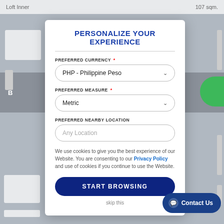[Figure (screenshot): Blurred background of a real estate website listing page]
PERSONALIZE YOUR EXPERIENCE
PREFERRED CURRENCY *
PHP - Philippine Peso
PREFERRED MEASURE *
Metric
PREFERRED NEARBY LOCATION
Any Location
We use cookies to give you the best experience of our Website. You are consenting to our Privacy Policy and use of cookies if you continue to use the Website.
START BROWSING
skip this
Contact Us